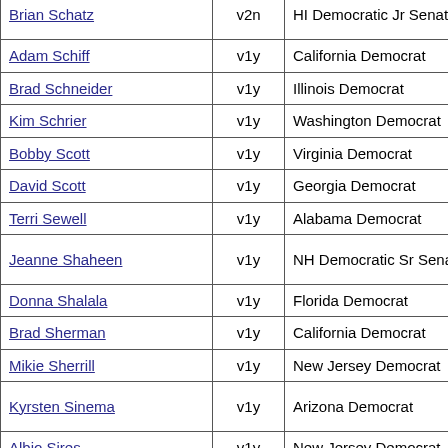| Name | Code | Description | Date |
| --- | --- | --- | --- |
| Brian Schatz | v2n | HI Democratic Jr Senator | Jan 16, 2020 |
| Adam Schiff | v1y | California Democrat |  |
| Brad Schneider | v1y | Illinois Democrat |  |
| Kim Schrier | v1y | Washington Democrat |  |
| Bobby Scott | v1y | Virginia Democrat |  |
| David Scott | v1y | Georgia Democrat |  |
| Terri Sewell | v1y | Alabama Democrat |  |
| Jeanne Shaheen | v1y | NH Democratic Sr Senator | Jan 16, 2020 |
| Donna Shalala | v1y | Florida Democrat |  |
| Brad Sherman | v1y | California Democrat |  |
| Mikie Sherrill | v1y | New Jersey Democrat |  |
| Kyrsten Sinema | v1y | Arizona Democrat | Jan 16, 2020 |
| Albio Sires | v1y | New Jersey Democrat |  |